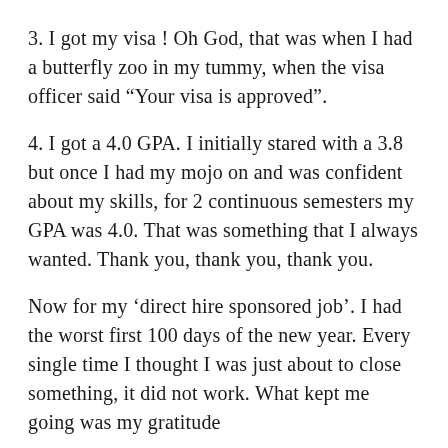3. I got my visa ! Oh God, that was when I had a butterfly zoo in my tummy, when the visa officer said “Your visa is approved”.
4. I got a 4.0 GPA. I initially stared with a 3.8 but once I had my mojo on and was confident about my skills, for 2 continuous semesters my GPA was 4.0. That was something that I always wanted. Thank you, thank you, thank you.
Now for my ‘direct hire sponsored job’. I had the worst first 100 days of the new year. Every single time I thought I was just about to close something, it did not work. What kept me going was my gratitude